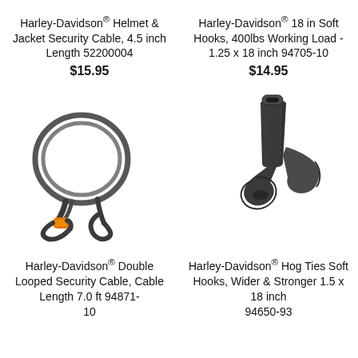Harley-Davidson® Helmet & Jacket Security Cable, 4.5 inch Length 52200004
$15.95
Harley-Davidson® 18 in Soft Hooks, 400lbs Working Load - 1.25 x 18 inch 94705-10
$14.95
[Figure (photo): Harley-Davidson double looped security cable with orange connector]
[Figure (photo): Harley-Davidson Hog Ties soft hooks, black straps]
Harley-Davidson® Double Looped Security Cable, Cable Length 7.0 ft 94871-10
Harley-Davidson® Hog Ties Soft Hooks, Wider & Stronger 1.5 x 18 inch 94650-93